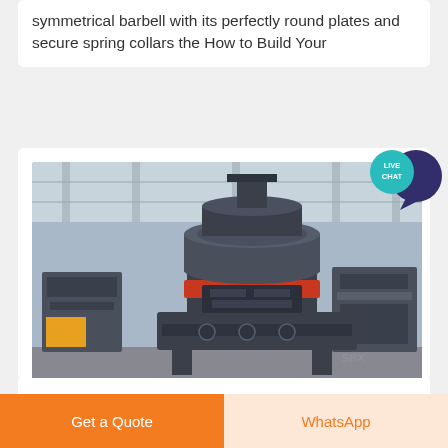symmetrical barbell with its perfectly round plates and secure spring collars the How to Build Your
[Figure (photo): Industrial isodynamic magnetic separation machine in a factory setting, large dark grey heavy machinery with cylindrical top section and orange band]
ISODYNAMIC MAGNETIC SEPARATION
Get a Quote
WhatsApp